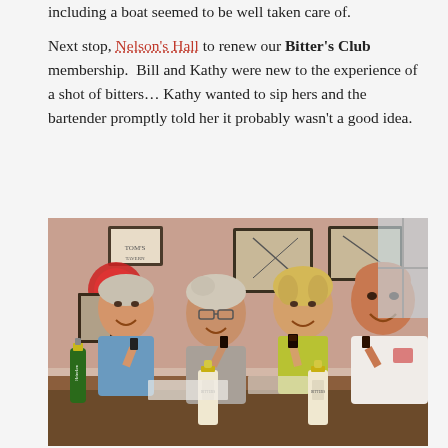including a boat seemed to be well taken care of. Next stop, Nelson's Hall to renew our Bitter's Club membership. Bill and Kathy were new to the experience of a shot of bitters… Kathy wanted to sip hers and the bartender promptly told her it probably wasn't a good idea.
[Figure (photo): Four people sitting at a bar, smiling and holding up shot glasses in a toast. Two small bottles of bitters are on the bar counter. A green Heineken bottle is visible on the left. Bar decor includes framed pictures on the wall and a Budweiser neon sign.]